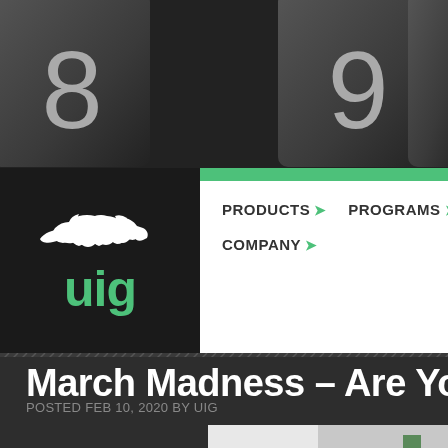[Figure (screenshot): Calculator keyboard keys showing '8' and '9' in dark gray, serving as background image at top of page]
[Figure (logo): UIG logo: white running dog silhouette above green 'uig' text on black background]
PRODUCTS  PROGRAMS  COMPANY
March Madness – Are Your
POSTED FEB 10, 2020 BY UIG
[Figure (photo): Couple reacting with excitement and surprise while watching something, woman whispering to man in blue hoodie]